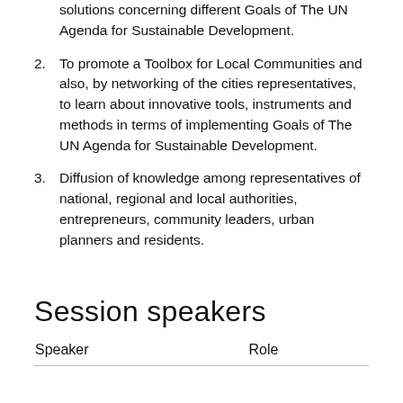solutions concerning different Goals of The UN Agenda for Sustainable Development.
2. To promote a Toolbox for Local Communities and also, by networking of the cities representatives, to learn about innovative tools, instruments and methods in terms of implementing Goals of The UN Agenda for Sustainable Development.
3. Diffusion of knowledge among representatives of national, regional and local authorities, entrepreneurs, community leaders, urban planners and residents.
Session speakers
| Speaker | Role |
| --- | --- |